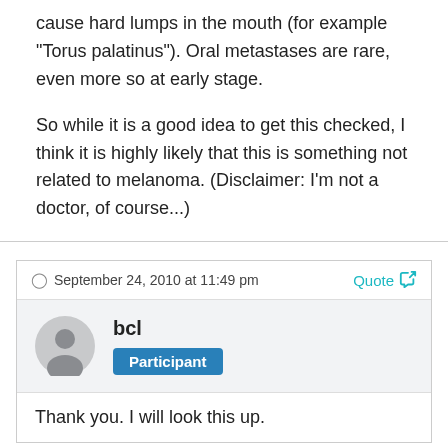cause hard lumps in the mouth (for example "Torus palatinus"). Oral metastases are rare, even more so at early stage.
So while it is a good idea to get this checked, I think it is highly likely that this is something not related to melanoma. (Disclaimer: I'm not a doctor, of course...)
September 24, 2010 at 11:49 pm
bcl
Participant
Thank you. I will look this up.